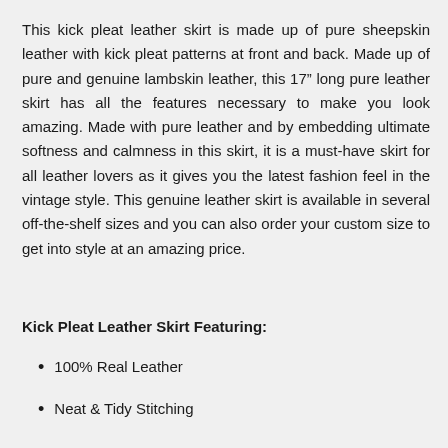This kick pleat leather skirt is made up of pure sheepskin leather with kick pleat patterns at front and back. Made up of pure and genuine lambskin leather, this 17" long pure leather skirt has all the features necessary to make you look amazing. Made with pure leather and by embedding ultimate softness and calmness in this skirt, it is a must-have skirt for all leather lovers as it gives you the latest fashion feel in the vintage style. This genuine leather skirt is available in several off-the-shelf sizes and you can also order your custom size to get into style at an amazing price.
Kick Pleat Leather Skirt Featuring:
100% Real Leather
Neat & Tidy Stitching